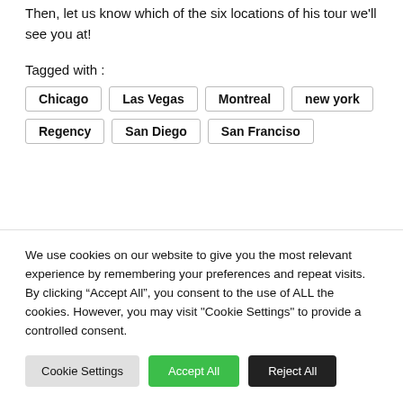Then, let us know which of the six locations of his tour we'll see you at!
Tagged with :
Chicago
Las Vegas
Montreal
new york
Regency
San Diego
San Franciso
We use cookies on our website to give you the most relevant experience by remembering your preferences and repeat visits. By clicking “Accept All”, you consent to the use of ALL the cookies. However, you may visit "Cookie Settings" to provide a controlled consent.